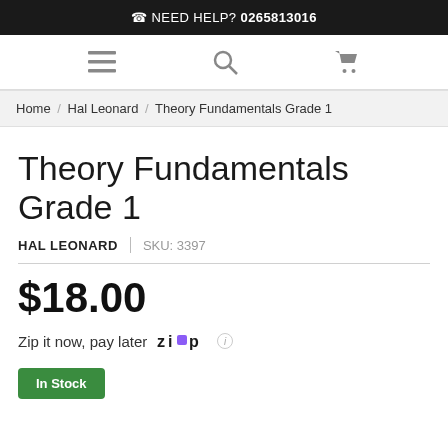NEED HELP? 0265813016
Home / Hal Leonard / Theory Fundamentals Grade 1
Theory Fundamentals Grade 1
HAL LEONARD  |  SKU: 3397
$18.00
Zip it now, pay later
In Stock